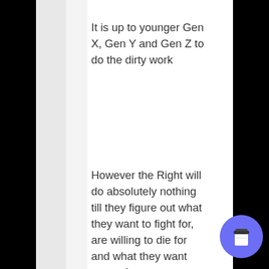It is up to younger Gen X, Gen Y and Gen Z to do the dirty work
However the Right will do absolutely nothing till they figure out what they want to fight for, are willing to die for and what they want power for.
Thus far this has been elusive to say the least.
Until that happens, unless there is door